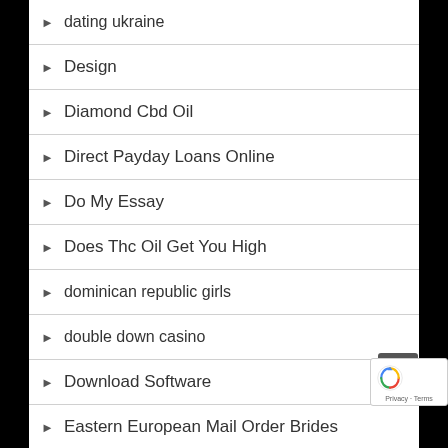dating ukraine
Design
Diamond Cbd Oil
Direct Payday Loans Online
Do My Essay
Does Thc Oil Get You High
dominican republic girls
double down casino
Download Software
Eastern European Mail Order Brides